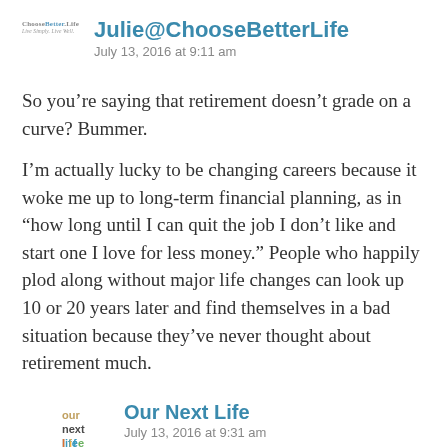Julie@ChooseBetterLife — July 13, 2016 at 9:11 am
So you’re saying that retirement doesn’t grade on a curve? Bummer.
I’m actually lucky to be changing careers because it woke me up to long-term financial planning, as in “how long until I can quit the job I don’t like and start one I love for less money.” People who happily plod along without major life changes can look up 10 or 20 years later and find themselves in a bad situation because they’ve never thought about retirement much.
Our Next Life — July 13, 2016 at 9:31 am